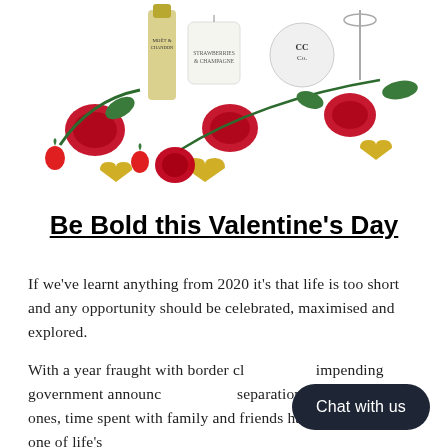[Figure (photo): Product photo showing Moët & Chandon champagne bottle, a white candle labeled 'Strawberries & Champagne', a CCCo. branded item, red roses, strawberries, and heart-shaped chocolates arranged on a white background.]
Be Bold this Valentine's Day
If we've learnt anything from 2020 it's that life is too short and any opportunity should be celebrated, maximised and explored.
With a year fraught with border cl... impending government announc... separation from our loved ones, time spent with family and friends has quickly become one of life's